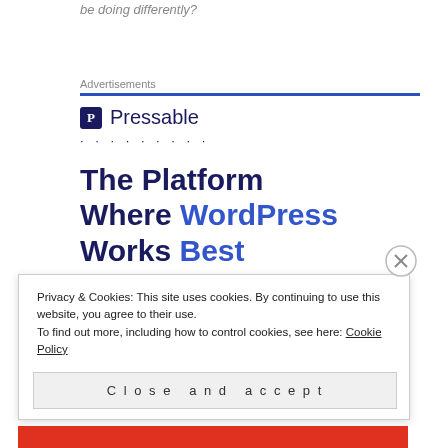be doing differently?
Advertisements
[Figure (logo): Pressable logo with P icon and dotted line below]
The Platform Where WordPress Works Best
Privacy & Cookies: This site uses cookies. By continuing to use this website, you agree to their use. To find out more, including how to control cookies, see here: Cookie Policy
Close and accept